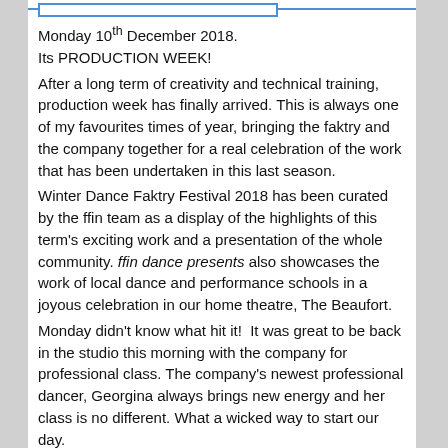Monday 10th December 2018.
Its PRODUCTION WEEK!
After a long term of creativity and technical training, production week has finally arrived. This is always one of my favourites times of year, bringing the faktry and the company together for a real celebration of the work that has been undertaken in this last season.
Winter Dance Faktry Festival 2018 has been curated by the ffin team as a display of the highlights of this term's exciting work and a presentation of the whole community. ffin dance presents also showcases the work of local dance and performance schools in a joyous celebration in our home theatre, The Beaufort.
Monday didn't know what hit it!  It was great to be back in the studio this morning with the company for professional class. The company's newest professional dancer, Georgina always brings new energy and her class is no different. What a wicked way to start our day.
Leaving the company to it, it was time to get back to work. The Faktry never stops. The Beaufort Theatre is a great space to work and the café is one of my favourite parts of the building. I spent a good portion of the day finalising my